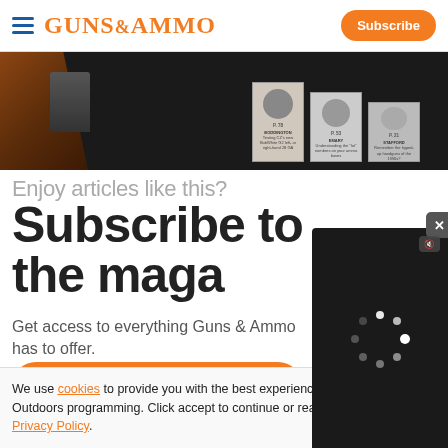GUNS&AMMO | Subscribe
[Figure (screenshot): Magazine cover images showing gun-related editorial content against dark background with a wooden gun grip on the left]
Enjoy articles like this?
Subscribe to the magazine
Get access to everything Guns & Ammo has to offer.
[Figure (screenshot): Video player overlay showing a loading spinner, mute button, close button, and controls showing 00:00 / 04:38]
We use cookies to provide you with the best experience in Outdoors programming. Click accept to continue or read about our Privacy Policy.